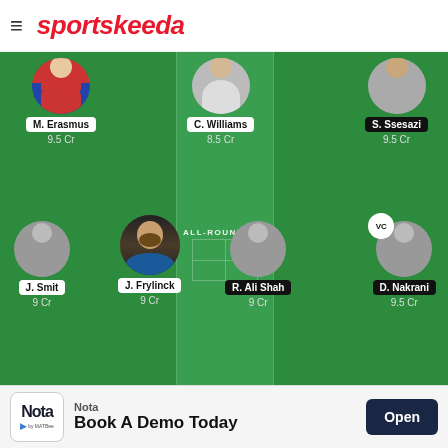[Figure (screenshot): Sportskeeda fantasy cricket team selection screen showing players on a green pitch layout. Top row: M. Erasmus (9.5 Cr), C. Williams (8.5 Cr, All-Rounders zone), S. Ssesazi (9.5 Cr). Bottom row: J. Smit (9 Cr), J. Frylinck (9 Cr), R. Ali Shah (9 Cr), D. Nakrani (9.5 Cr, VC badge). All-Rounders label shown in center column.]
[Figure (screenshot): Advertisement banner: Nota app - Book A Demo Today with Open button]